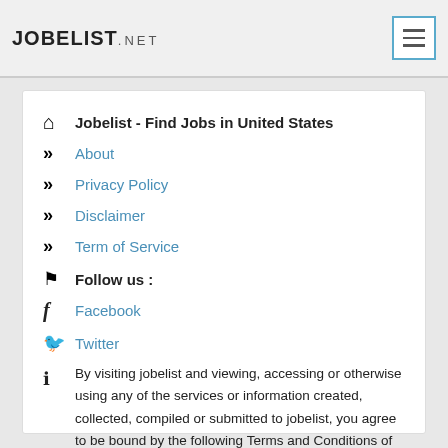JOBELIST.NET
Jobelist - Find Jobs in United States
About
Privacy Policy
Disclaimer
Term of Service
Follow us :
Facebook
Twitter
By visiting jobelist and viewing, accessing or otherwise using any of the services or information created, collected, compiled or submitted to jobelist, you agree to be bound by the following Terms and Conditions of Service. Create By jobelist - render in : 0.514 s.
© Jobelist - Find Jobs in United States